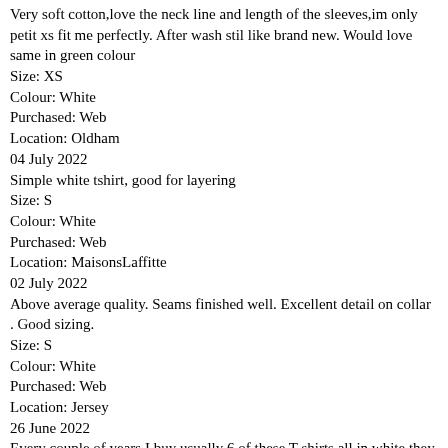Very soft cotton,love the neck line and length of the sleeves,im only petit xs fit me perfectly. After wash stil like brand new. Would love same in green colour
Size: XS
Colour: White
Purchased: Web
Location: Oldham
04 July 2022
Simple white tshirt, good for layering
Size: S
Colour: White
Purchased: Web
Location: MaisonsLaffitte
02 July 2022
Above average quality. Seams finished well. Excellent detail on collar . Good sizing.
Size: S
Colour: White
Purchased: Web
Location: Jersey
26 June 2022
Every couple of years I buy usually 6 of these T shirts all in white they keep there shape plus good value & go with everything.
Size: M
Colour: White
Purchased: Web